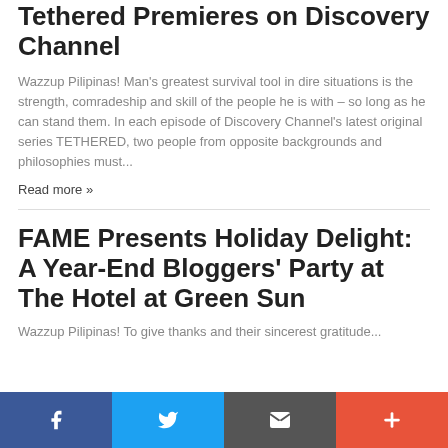Tethered Premieres on Discovery Channel
Wazzup Pilipinas! Man's greatest survival tool in dire situations is the strength, comradeship and skill of the people he is with – so long as he can stand them. In each episode of Discovery Channel's latest original series TETHERED, two people from opposite backgrounds and philosophies must...
Read more »
FAME Presents Holiday Delight: A Year-End Bloggers' Party at The Hotel at Green Sun
Wazzup Pilipinas! To give thanks and their sincerest gratitude...